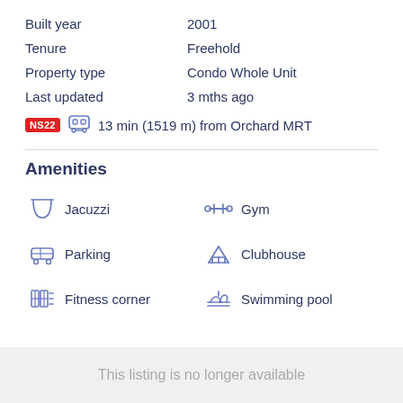Built year   2001
Tenure   Freehold
Property type   Condo Whole Unit
Last updated   3 mths ago
NS22  [bus icon]  13 min (1519 m) from Orchard MRT
Amenities
Jacuzzi
Gym
Parking
Clubhouse
Fitness corner
Swimming pool
This listing is no longer available